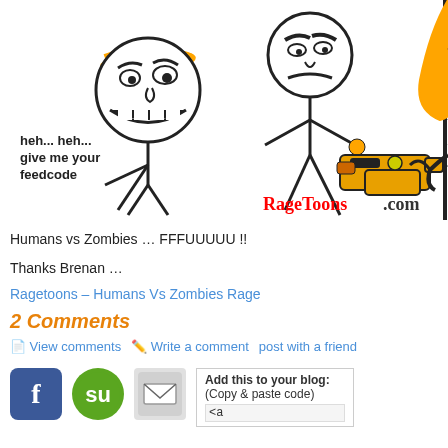[Figure (illustration): Rage comic / meme illustration showing troll face and FFFUUU face characters in a Humans vs Zombies scene. Text in comic: 'heh... heh... give me your feedcode'. RageToons.com watermark visible. Stick figures, Nerf gun, zombie character with orange color accents.]
Humans vs Zombies … FFFUUUUU !!
Thanks Brenan …
Ragetoons – Humans Vs Zombies Rage
2 Comments
View comments   Write a comment   post with a friend
Add this to your blog: (Copy & paste code)
<a